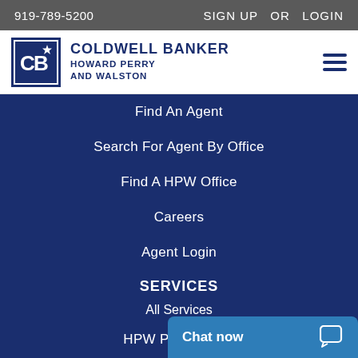919-789-5200   SIGN UP  OR  LOGIN
[Figure (logo): Coldwell Banker Howard Perry and Walston logo with CB monogram in dark blue square border]
Find An Agent
Search For Agent By Office
Find A HPW Office
Careers
Agent Login
SERVICES
All Services
HPW Power Offer
Power Of HPW
Chat now